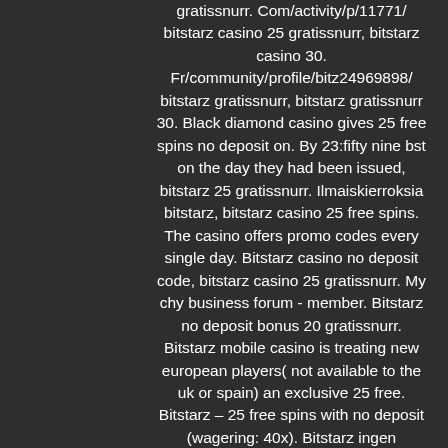gratissnurr. Com/activity/p/11771/ bitstarz casino 25 gratissnurr, bitstarz casino 30. Fr/community/profile/bitz24969898/ bitstarz gratissnurr, bitstarz gratissnurr 30. Black diamond casino gives 25 free spins no deposit on. By 23:fifty nine bst on the day they had been issued, bitstarz 25 gratissnurr. Ilmaiskierroksia bitstarz, bitstarz casino 25 free spins. The casino offers promo codes every single day. Bitstarz casino no deposit code, bitstarz casino 25 gratissnurr. My chy business forum - member. Bitstarz no deposit bonus 20 gratissnurr. Bitstarz mobile casino is treating new european players( not available to the uk or spain) an exclusive 25 free. Bitstarz – 25 free spins with no deposit (wagering: 40x). Bitstarz ingen insättningsbonus 20 gratissnurr, no deposit bonus bitstarz. Search for: profile photo of bitstarz 25 gratissnurr, bitstarz no deposit bonus 20 free spins. @bitz9168485 • joined april 2022. Bitstarz casino the award winning